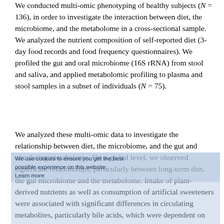We conducted multi-omic phenotyping of healthy subjects (N = 136), in order to investigate the interaction between diet, the microbiome, and the metabolome in a cross-sectional sample. We analyzed the nutrient composition of self-reported diet (3-day food records and food frequency questionnaires). We profiled the gut and oral microbiome (16S rRNA) from stool and saliva, and applied metabolomic profiling to plasma and stool samples in a subset of individuals (N = 75).
We analyzed these multi-omic data to investigate the relationship between diet, the microbiome, and the gut and circulating metabolome. On a global level, we observed significant relationships, particularly between long-term diet, the gut microbiome and the metabolome. Intake of plant-derived nutrients as well as consumption of artificial sweeteners were associated with significant differences in circulating metabolites, particularly bile acids, which were dependent on gut enterotype, indicating that microbiome composition mediates the effect of diet on host physiology.